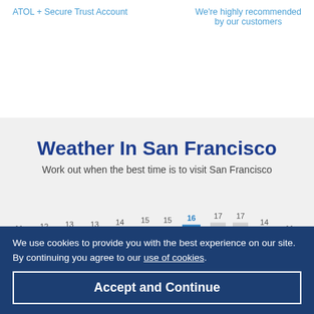ATOL + Secure Trust Account
We're highly recommended by our customers
Weather In San Francisco
Work out when the best time is to visit San Francisco
[Figure (bar-chart): Weather In San Francisco]
We use cookies to provide you with the best experience on our site. By continuing you agree to our use of cookies.
Accept and Continue